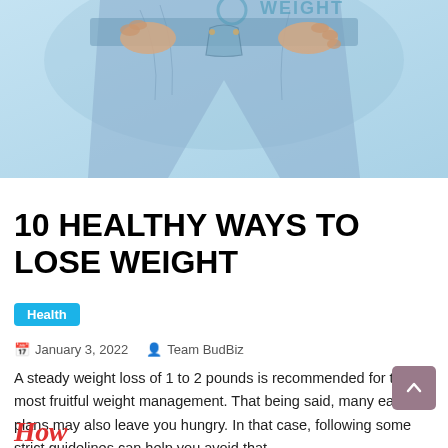[Figure (photo): Person holding oversized jeans waistband against light blue background, demonstrating weight loss]
10 HEALTHY WAYS TO LOSE WEIGHT
Health
January 3, 2022   Team BudBiz
A steady weight loss of 1 to 2 pounds is recommended for the most fruitful weight management. That being said, many eating plans may also leave you hungry. In that case, following some strict guidelines can help you avoid that.
How